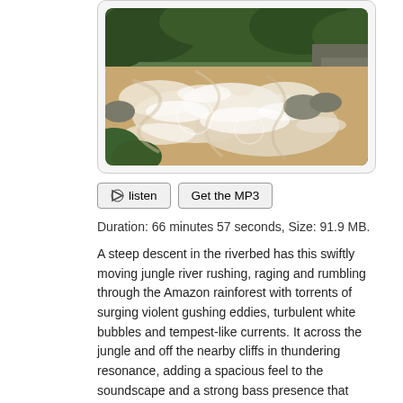[Figure (photo): A fast-moving, turbulent jungle river with brown rushing water, white foam and bubbles, rocks, and lush green forest/cliffs in the background. The photo is inside a rounded light-gray bordered container.]
🔔 listen   Get the MP3
Duration: 66 minutes 57 seconds, Size: 91.9 MB.
A steep descent in the riverbed has this swiftly moving jungle river rushing, raging and rumbling through the Amazon rainforest with torrents of surging violent gushing eddies, turbulent white bubbles and tempest-like currents. It across the jungle and off the nearby cliffs in thundering resonance, adding a spacious feel to the soundscape and a strong bass presence that conveys a physical milieu.
Special attention was given to the choice of the river's recording location to p the most spacious sound, yet still have the listener be able to hear and enjoy close-up sounds of splashing water.